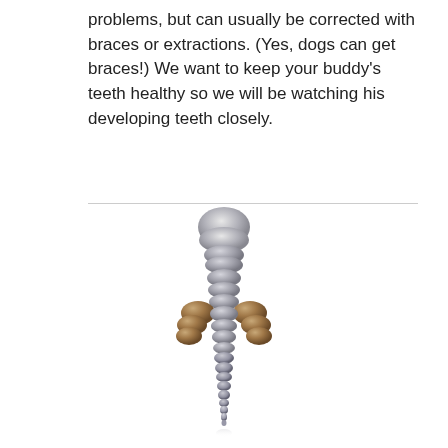problems, but can usually be corrected with braces or extractions. (Yes, dogs can get braces!) We want to keep your buddy's teeth healthy so we will be watching his developing teeth closely.
[Figure (illustration): A 3D illustration of a single dog tooth (canine tooth) shown vertically, with a silver-gray crown at the top, multiple root segments stacked below, and two brownish root branches extending to the sides in the middle section. The root tapers to a narrow tip at the bottom with a slight reflection.]